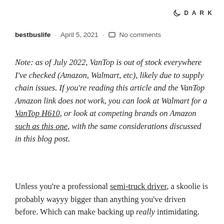DARK
bestbuslife · April 5, 2021 · No comments
Note: as of July 2022, VanTop is out of stock everywhere I've checked (Amazon, Walmart, etc), likely due to supply chain issues. If you're reading this article and the VanTop Amazon link does not work, you can look at Walmart for a VanTop H610, or look at competing brands on Amazon such as this one, with the same considerations discussed in this blog post.
Unless you're a professional semi-truck driver, a skoolie is probably wayyy bigger than anything you've driven before. Which can make backing up really intimidating.